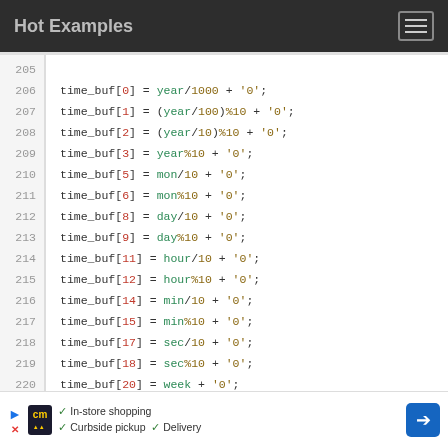Hot Examples
[Figure (screenshot): Code viewer showing C lines 205-221 with time_buf array assignments using year, mon, day, hour, min, sec, week variables with arithmetic operations /10, %10, +0]
[Figure (infographic): Advertisement bar: in-store shopping, curbside pickup, delivery]